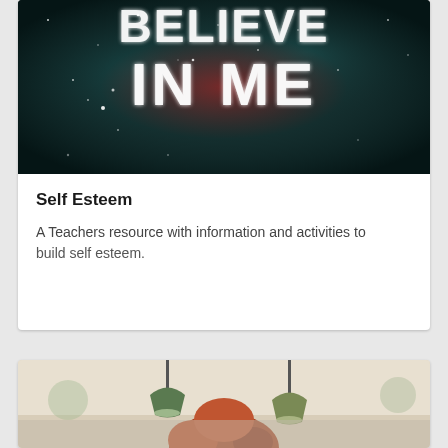[Figure (photo): Dark cosmic/space background with glowing text reading 'BELIEVE IN ME' in white sparkly letters against teal and red nebula colors]
Self Esteem
A Teachers resource with information and activities to build self esteem.
[Figure (photo): Photo of a person with red hair in a classroom or workshop setting with green pendant lamps hanging from ceiling]